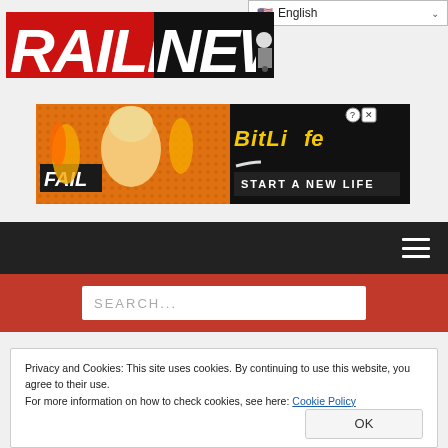[Figure (logo): RaillyNews logo — RAILLY in red/white italic block letters, NEWS in black block letters with a black steam locomotive icon]
[Figure (screenshot): BitLife advertisement banner: orange/red dotted background, FAIL text, cartoon girl with flames, BitLife logo in yellow on black, START A NEW LIFE text]
English (language selector dropdown)
SEARCH...
Privacy and Cookies: This site uses cookies. By continuing to use this website, you agree to their use.
For more information on how to check cookies, see here: Cookie Policy
OK